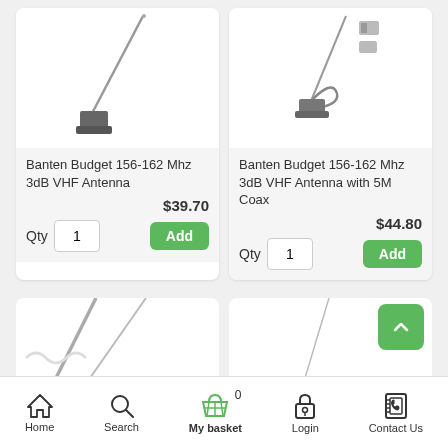[Figure (photo): Banten Budget 156-162 Mhz 3dB VHF Antenna product photo]
Banten Budget 156-162 Mhz 3dB VHF Antenna
$39.70
Qty 1 Add
[Figure (photo): Banten Budget 156-162 Mhz 3dB VHF Antenna with 5M Coax product photo]
Banten Budget 156-162 Mhz 3dB VHF Antenna with 5M Coax
$44.80
Qty 1 Add
[Figure (photo): Partial antenna product photos in bottom row]
Home  Search  My basket 0  Login  Contact Us